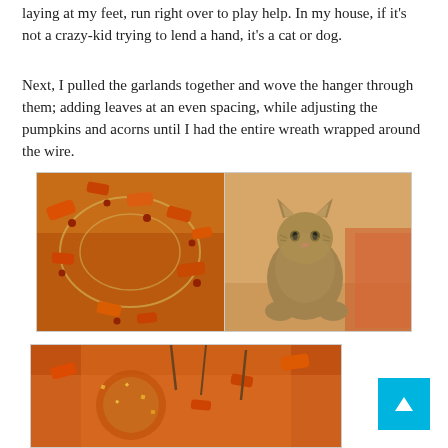laying at my feet, run right over to play help. In my house, if it's not a crazy-kid trying to lend a hand, it's a cat or dog.
Next, I pulled the garlands together and wove the hanger through them; adding leaves at an even spacing, while adjusting the pumpkins and acorns until I had the entire wreath wrapped around the wire.
[Figure (photo): Two photos side by side: left photo shows autumn wreath garlands with orange and red leaves and berries on a wooden floor; right photo shows a tabby cat sitting on a wooden floor next to autumn floral decorations.]
[Figure (photo): Partial photo at bottom showing close-up of autumn wreath with glittery decorations and orange/red elements.]